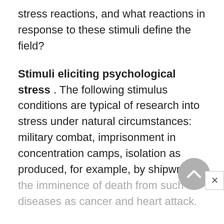stress reactions, and what reactions in response to these stimuli define the field?
Stimuli eliciting psychological stress . The following stimulus conditions are typical of research into stress under natural circumstances: military combat, imprisonment in concentration camps, isolation as produced, for example, by shipwreck, the imminence of death from such diseases as cancer and heart attack.